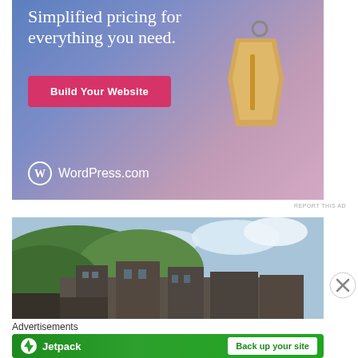[Figure (illustration): WordPress.com advertisement with gradient blue-pink background, price tag illustration, 'Simplified pricing for everything you need.' headline, pink 'Build Your Website' button, and WordPress.com logo at bottom left.]
REPORT THIS AD
[Figure (photo): Photograph of an abandoned or historic building complex with green forested hills in the background and partly cloudy sky.]
Advertisements
[Figure (illustration): Jetpack advertisement banner on green background with Jetpack logo and 'Back up your site' white button.]